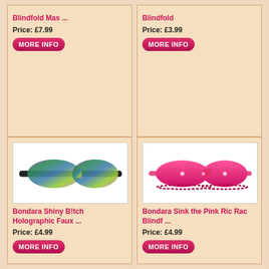Blindfold Mas ...
Price: £7.99
MORE INFO
Blindfold
Price: £3.99
MORE INFO
[Figure (photo): Holographic rainbow-colored eye mask blindfold with black elastic strap]
Bondara Shiny B!tch Holographic Faux ...
Price: £4.99
MORE INFO
[Figure (photo): Hot pink satin eye mask blindfold with ruffled edges and small gems]
Bondara Sink the Pink Ric Rac Blindf ...
Price: £4.99
MORE INFO